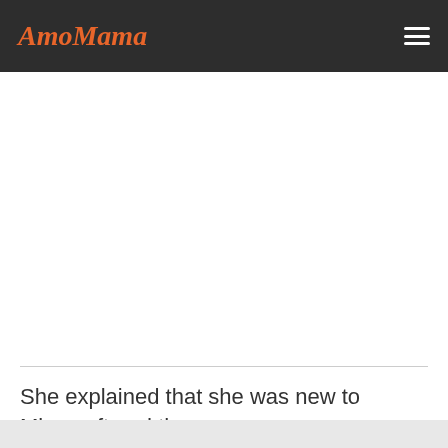AmoMama
She explained that she was new to Microsoft and there